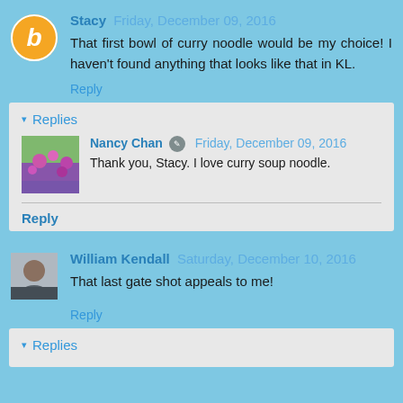Stacy  Friday, December 09, 2016
That first bowl of curry noodle would be my choice! I haven't found anything that looks like that in KL.
Reply
▼ Replies
[Figure (photo): Thumbnail photo of flowers/nature scene (pink/purple flowers)]
Nancy Chan  Friday, December 09, 2016
Thank you, Stacy. I love curry soup noodle.
Reply
William Kendall  Saturday, December 10, 2016
That last gate shot appeals to me!
Reply
▼ Replies